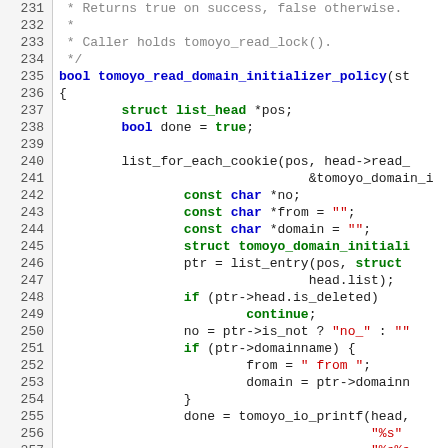Source code listing lines 231-257, C code for tomoyo_read_domain_initializer_policy function